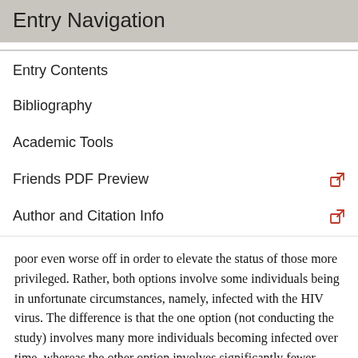Entry Navigation
Entry Contents
Bibliography
Academic Tools
Friends PDF Preview
Author and Citation Info
poor even worse off in order to elevate the status of those more privileged. Rather, both options involve some individuals being in unfortunate circumstances, namely, infected with the HIV virus. The difference is that the one option (not conducting the study) involves many more individuals becoming infected over time, whereas the other option involves significantly fewer individuals being infected, but some as the result of being injected with HIV in the process of identifying an effective vaccine. Since the least desirable circumstances (being infected with HIV) are the same in both cases, the reasonable choice, even if one endorses the maximin